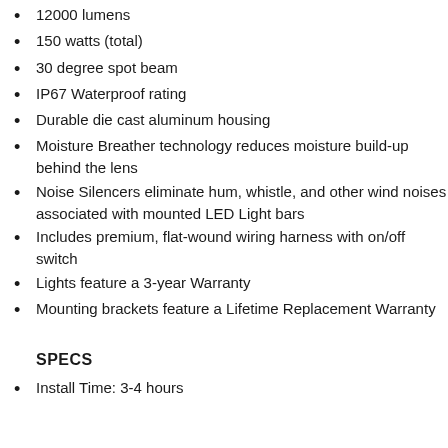12000 lumens
150 watts (total)
30 degree spot beam
IP67 Waterproof rating
Durable die cast aluminum housing
Moisture Breather technology reduces moisture build-up behind the lens
Noise Silencers eliminate hum, whistle, and other wind noises associated with mounted LED Light bars
Includes premium, flat-wound wiring harness with on/off switch
Lights feature a 3-year Warranty
Mounting brackets feature a Lifetime Replacement Warranty
SPECS
Install Time: 3-4 hours